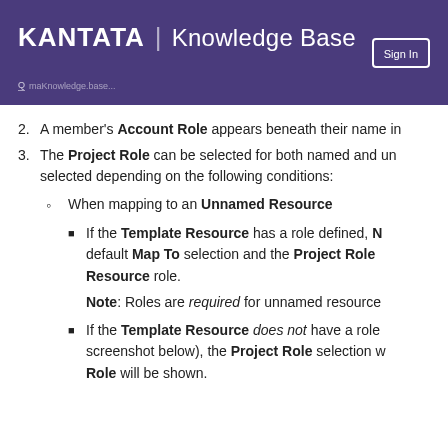KANTATA | Knowledge Base
2. A member's Account Role appears beneath their name in
3. The Project Role can be selected for both named and unnamed resources. The role is selected depending on the following conditions:
When mapping to an Unnamed Resource
If the Template Resource has a role defined, N... default Map To selection and the Project Role... Resource role.
Note: Roles are required for unnamed resource...
If the Template Resource does not have a role... screenshot below), the Project Role selection w... Role will be shown.